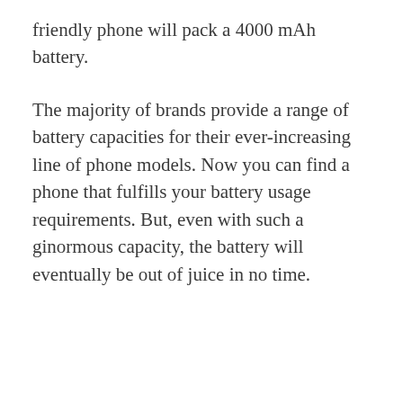friendly phone will pack a 4000 mAh battery.
The majority of brands provide a range of battery capacities for their ever-increasing line of phone models. Now you can find a phone that fulfills your battery usage requirements. But, even with such a ginormous capacity, the battery will eventually be out of juice in no time.